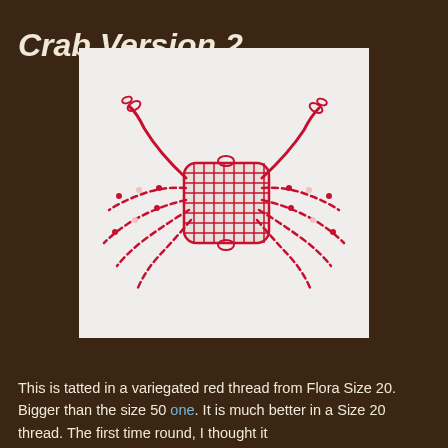Crab Version 2
[Figure (photo): A tatted crab made with variegated red and white thread, showing a woven body with multiple legs extending outward, photographed on a white background.]
This is tatted in a variegated red thread from Flora Size 20. Bigger than the size 50 one. It is much better in a Size 20 thread. The first time round, I thought it